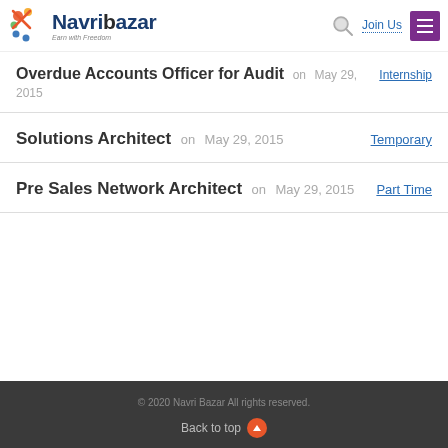Navri Bazar – Earn with Freedom | Join Us
Overdue Accounts Officer for Audit on May 29, 2015 Internship
Solutions Architect on May 29, 2015 Temporary
Pre Sales Network Architect on May 29, 2015 Part Time
© 2020 Navri Bazar All rights reserved. Back to top